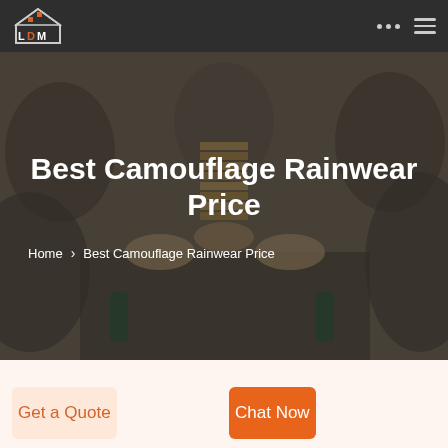LDM logo with navigation icons
[Figure (photo): Group of people playing Jenga around a table, dark overlay applied, used as hero background image]
Best Camouflage Rainwear Price
Home > Best Camouflage Rainwear Price
Get a Quote
Chat Now